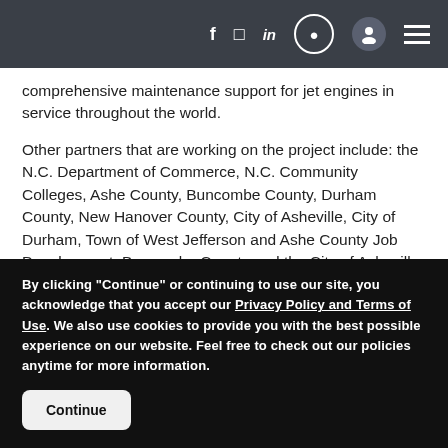Navigation bar with social icons: f, Twitter, in, search, profile, menu
comprehensive maintenance support for jet engines in service throughout the world.
Other partners that are working on the project include: the N.C. Department of Commerce, N.C. Community Colleges, Ashe County, Buncombe County, Durham County, New Hanover County, City of Asheville, City of Durham, Town of West Jefferson and Ashe County Job Development. Buncombe County and the City of Asheville
By clicking "Continue" or continuing to use our site, you acknowledge that you accept our Privacy Policy and Terms of Use. We also use cookies to provide you with the best possible experience on our website. Feel free to check out our policies anytime for more information.
Continue